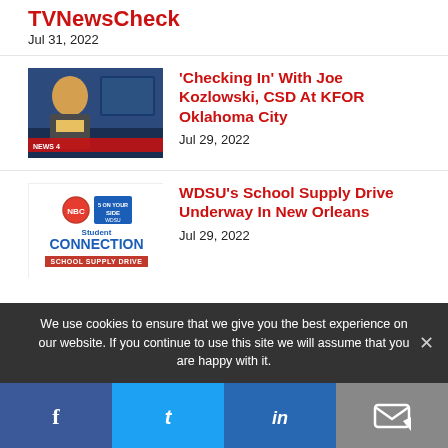TVNewsCheck
Jul 31, 2022
[Figure (photo): Man at TV news desk laughing, wearing yellow shirt and grey jacket, KFOR News 4 branding visible]
'Checking In' With Joe Kozlowski, CSD At KFOR Oklahoma City
Jul 29, 2022
[Figure (logo): WDSU Student Connection School Supply Drive logo]
WDSU's School Supply Drive Underway In New Orleans
Jul 29, 2022
We use cookies to ensure that we give you the best experience on our website. If you continue to use this site we will assume that you are happy with it.
[Figure (infographic): Social media share bar with Facebook, Twitter, LinkedIn, and email icons]